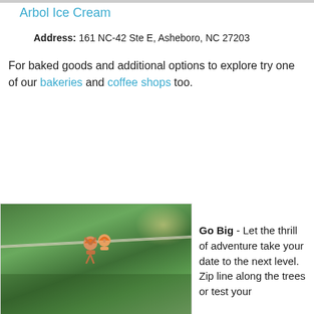Arbol Ice Cream
Address: 161 NC-42 Ste E, Asheboro, NC 27203
For baked goods and additional options to explore try one of our bakeries and coffee shops too.
[Figure (photo): Two people zip lining through a green forest canopy, wearing orange helmets]
Go Big  - Let the thrill of adventure take your date to the next level. Zip line along the trees or test your